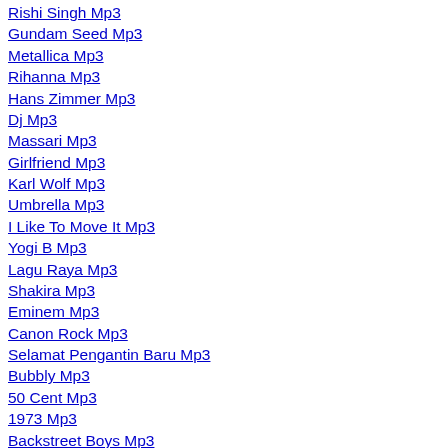Rishi Singh Mp3
Gundam Seed Mp3
Metallica Mp3
Rihanna Mp3
Hans Zimmer Mp3
Dj Mp3
Massari Mp3
Girlfriend Mp3
Karl Wolf Mp3
Umbrella Mp3
I Like To Move It Mp3
Yogi B Mp3
Lagu Raya Mp3
Shakira Mp3
Eminem Mp3
Canon Rock Mp3
Selamat Pengantin Baru Mp3
Bubbly Mp3
50 Cent Mp3
1973 Mp3
Backstreet Boys Mp3
Ungu Mp3
Linkin Park Mp3
Boney M Mp3
Lupang Hinirang Mp3